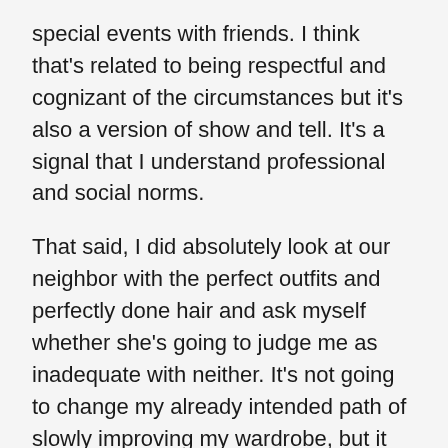special events with friends. I think that's related to being respectful and cognizant of the circumstances but it's also a version of show and tell. It's a signal that I understand professional and social norms.
That said, I did absolutely look at our neighbor with the perfect outfits and perfectly done hair and ask myself whether she's going to judge me as inadequate with neither. It's not going to change my already intended path of slowly improving my wardrobe, but it would tell me something about her if she does. How someone acts and talks tells me as much about them as their superficial layer does. I ended a budding friendship with a neighbor who openly and laughingly fatshamed a friend because I'm not ok with people who think that's ok.
I yearn for an electric minivan for our family's